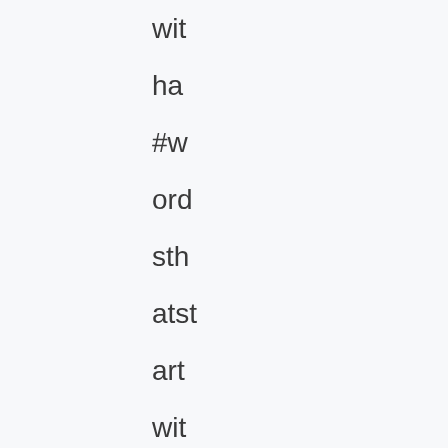wit
ha
#w
ord
sth
atst
art
wit
haf
orkids
#te
nw
ord
sfr
om
the
alp
ha